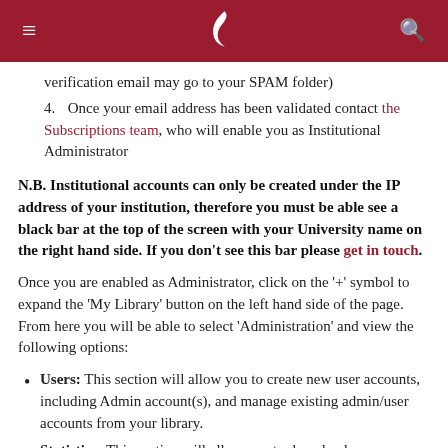≡ [logo] 🔍
verification email may go to your SPAM folder)
4. Once your email address has been validated contact the Subscriptions team, who will enable you as Institutional Administrator
N.B. Institutional accounts can only be created under the IP address of your institution, therefore you must be able see a black bar at the top of the screen with your University name on the right hand side. If you don't see this bar please get in touch.
Once you are enabled as Administrator, click on the '+' symbol to expand the 'My Library' button on the left hand side of the page. From here you will be able to select 'Administration' and view the following options:
Users: This section will allow you to create new user accounts, including Admin account(s), and manage existing admin/user accounts from your library.
Statistics: This section will allow you to download